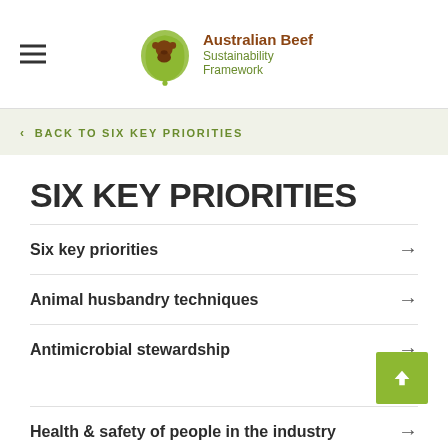Australian Beef Sustainability Framework
< BACK TO SIX KEY PRIORITIES
SIX KEY PRIORITIES
Six key priorities →
Animal husbandry techniques →
Antimicrobial stewardship →
Health & safety of people in the industry →